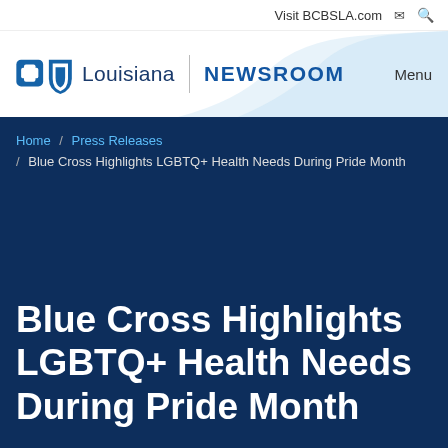Visit BCBSLA.com
[Figure (logo): Blue Cross Blue Shield of Louisiana logo with Louisiana wordmark and NEWSROOM label]
Home / Press Releases / Blue Cross Highlights LGBTQ+ Health Needs During Pride Month
Blue Cross Highlights LGBTQ+ Health Needs During Pride Month